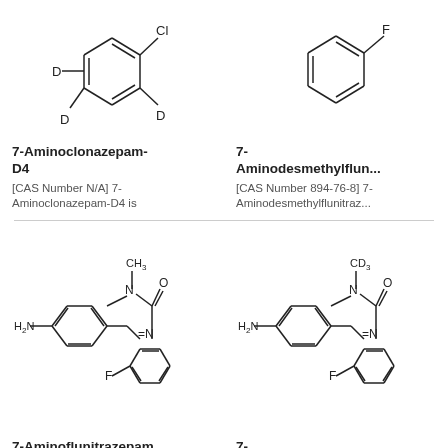[Figure (illustration): Chemical structure of 7-Aminoclonazepam-D4: deuterated chlorobenzene ring with D labels]
7-Aminoclonazepam-D4
[CAS Number N/A] 7-Aminoclonazepam-D4 is
[Figure (illustration): Chemical structure of 7-Aminodesmethylflun...: fluorobenzene ring]
7-Aminodesmethylflun...
[CAS Number 894-76-8] 7-Aminodesmethylflunitraz...
[Figure (illustration): Chemical structure of 7-Aminoflunitrazepam: benzodiazepine with H2N, CH3, N, O, F groups]
7-Aminoflunitrazepam
[Figure (illustration): Chemical structure of 7-Aminoflunitrazepam-D: benzodiazepine with H2N, CD3, N, O, F groups]
7-Aminoflunitrazepam-